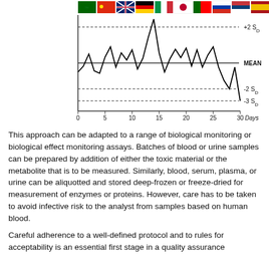[Figure (continuous-plot): Levey-Jennings quality control chart showing daily measurements over 30 days. Horizontal lines indicate MEAN, +2 SD (dotted), -2 SD (dotted), and -3 SD (dotted). X-axis labeled 'Days' with ticks at 0,5,10,15,20,25,30. Data line fluctuates around mean with a spike near day 15-16 reaching above +2 SD. Country flags shown along top edge.]
This approach can be adapted to a range of biological monitoring or biological effect monitoring assays. Batches of blood or urine samples can be prepared by addition of either the toxic material or the metabolite that is to be measured. Similarly, blood, serum, plasma, or urine can be aliquotted and stored deep-frozen or freeze-dried for measurement of enzymes or proteins. However, care has to be taken to avoid infective risk to the analyst from samples based on human blood.
Careful adherence to a well-defined protocol and to rules for acceptability is an essential first stage in a quality assurance